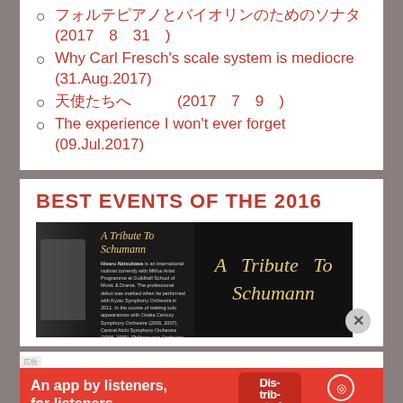フォルテピアノとバイオリンのためのソナタ (2017 8 31 )
Why Carl Fresch's scale system is mediocre (31.Aug.2017)
天使たちへ (2017 7 9 )
The experience I won't ever forget (09.Jul.2017)
BEST EVENTS OF THE 2016
[Figure (photo): A Tribute To Schumann - concert program photo with violinist silhouette and text description of Hisaru Natsukawa, international violinist with MMus Artist Programme at Guildhall School of Music & Drama]
[Figure (infographic): Pocket Casts advertisement banner - An app by listeners, for listeners. Shows phone with 'Distributed' text and Pocket Casts logo]